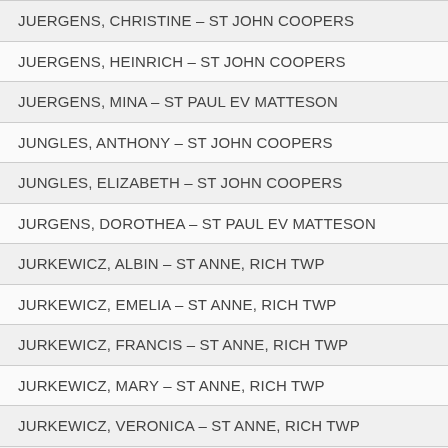| JUERGENS, CHRISTINE – ST JOHN COOPERS |
| JUERGENS, HEINRICH – ST JOHN COOPERS |
| JUERGENS, MINA – ST PAUL EV MATTESON |
| JUNGLES, ANTHONY – ST JOHN COOPERS |
| JUNGLES, ELIZABETH – ST JOHN COOPERS |
| JURGENS, DOROTHEA – ST PAUL EV MATTESON |
| JURKEWICZ, ALBIN – ST ANNE, RICH TWP |
| JURKEWICZ, EMELIA – ST ANNE, RICH TWP |
| JURKEWICZ, FRANCIS – ST ANNE, RICH TWP |
| JURKEWICZ, MARY – ST ANNE, RICH TWP |
| JURKEWICZ, VERONICA – ST ANNE, RICH TWP |